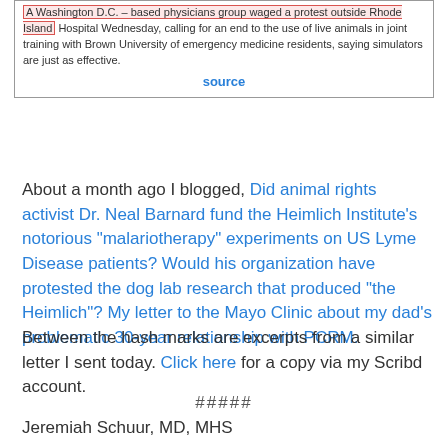[Figure (screenshot): Screenshot of a news excerpt with red-highlighted text: 'A Washington D.C. – based physicians group waged a protest outside Rhode Island Hospital Wednesday, calling for an end to the use of live animals in joint training with Brown University of emergency medicine residents, saying simulators are just as effective.' with a 'source' link below.]
About a month ago I blogged, Did animal rights activist Dr. Neal Barnard fund the Heimlich Institute's notorious "malariotherapy" experiments on US Lyme Disease patients? Would his organization have protested the dog lab research that produced "the Heimlich"? My letter to the Mayo Clinic about my dad's problematic 30-year relationship with PCRM.
Between the hash marks are excerpts from a similar letter I sent today. Click here for a copy via my Scribd account.
#####
Jeremiah Schuur, MD, MHS
Chair, Department of Emergency Medicine
The Alpert Medical School of Brown University
Providence, Rhode Island 02912